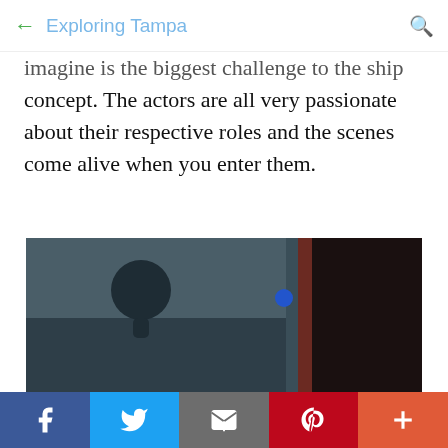← Exploring Tampa 🔍
imagine is the biggest challenge to the ship concept. The actors are all very passionate about their respective roles and the scenes come alive when you enter them.
[Figure (photo): Dark moody photo of a room interior with a circular wall-mounted object, a red wall strip, a dark panel on the right with 'NIN' text in red, and a person's head visible at the bottom]
Facebook | Twitter | Email | Pinterest | More